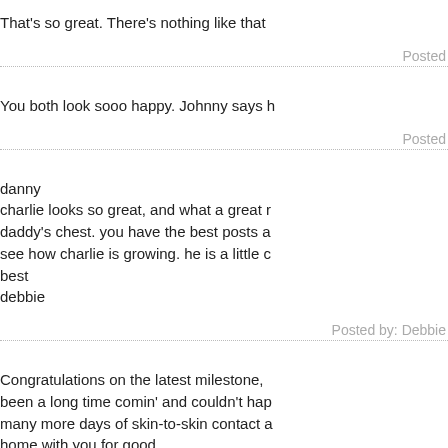That's so great. There's nothing like that
Posted
You both look sooo happy. Johnny says h
Posted
danny
charlie looks so great, and what a great r daddy's chest. you have the best posts a see how charlie is growing. he is a little c best
debbie
Posted by: Debbie
Congratulations on the latest milestone, been a long time comin' and couldn't hap many more days of skin-to-skin contact a home with you for good.